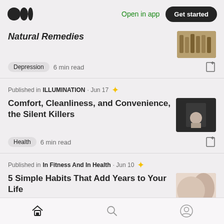Medium app navigation bar with logo, Open in app link, and Get started button
Natural Remedies
Depression · 6 min read
Published in ILLUMINATION · Jun 17
Comfort, Cleanliness, and Convenience, the Silent Killers
Health · 6 min read
Published in In Fitness And In Health · Jun 10
5 Simple Habits That Add Years to Your Life
Health · 7 min read
Bottom navigation: Home, Search, Profile